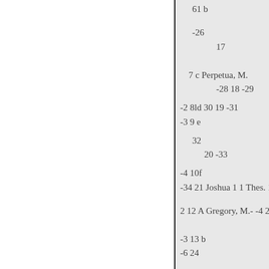61 b
-26
17
7 c Perpetua, M.
-28 18 -29
-2 8ld 30 19 -31
-3 9 e
32
20 -33
-4 10f
-34 21 Joshua 1 1 Thes. 1 Jos
2 12 A Gregory, M.- -4 231
-3 13 b
-6 24